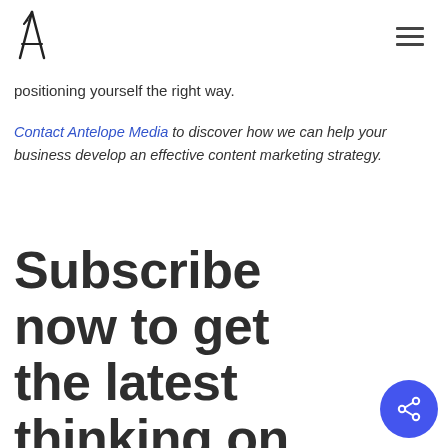[Antelope Media logo] [hamburger menu]
positioning yourself the right way.
Contact Antelope Media to discover how we can help your business develop an effective content marketing strategy.
Subscribe now to get the latest thinking on content marketing,